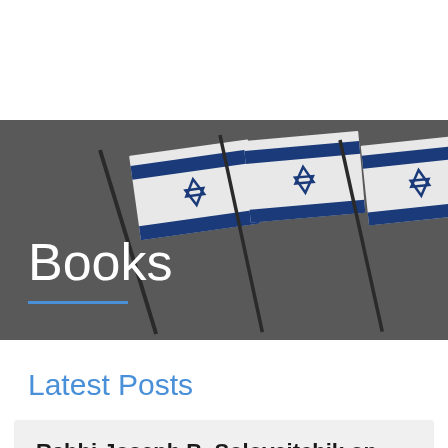[Figure (photo): Dark grey banner with three Israeli flags in the background, partially visible]
Books
Latest Posts
Rabbi Joseph B. Soloveitchik on Pesack, Sefirat Ha-Omer and